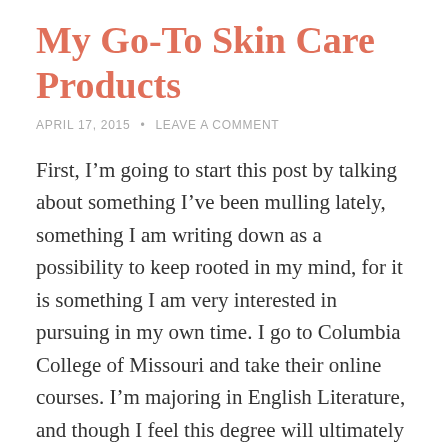My Go-To Skin Care Products
APRIL 17, 2015  •  LEAVE A COMMENT
First, I'm going to start this post by talking about something I've been mulling lately, something I am writing down as a possibility to keep rooted in my mind, for it is something I am very interested in pursuing in my own time. I go to Columbia College of Missouri and take their online courses. I'm majoring in English Literature, and though I feel this degree will ultimately lead me nowhere except to feed the burgeoning intelligence of my mind, I will still pursue it and finish it regardless. Some say you are obligated to have a higher pay, even at a minimum wage job, for having the